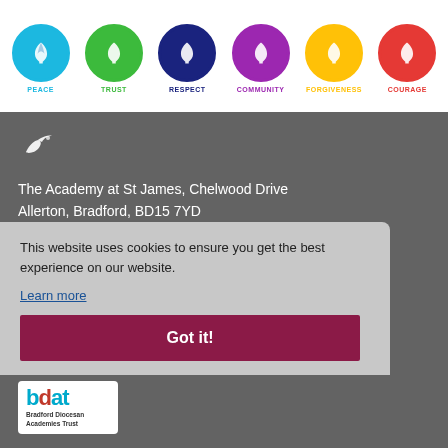[Figure (illustration): Six circular school values badges in a row: Peace (light blue), Trust (green), Respect (dark navy), Community (purple), Forgiveness (yellow/gold), Courage (red). Each badge has a dove icon and the value name below in matching color.]
[Figure (logo): White dove/bird icon on grey background]
The Academy at St James, Chelwood Drive
Allerton, Bradford, BD15 7YD
Headteacher: Chris Tolson
School enquiries: Mrs Mungovin or Miss Carter
This website uses cookies to ensure you get the best experience on our website.
Learn more
Got it!
[Figure (logo): BDAT - Bradford Diocesan Academies Trust logo in blue and red]